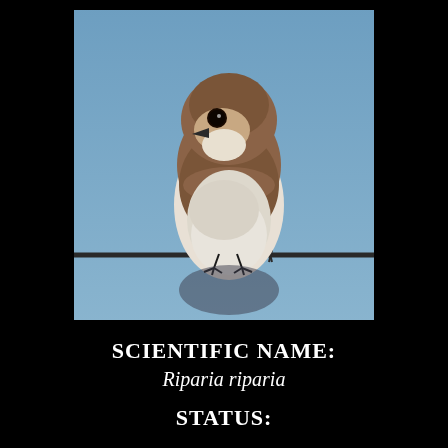[Figure (photo): Close-up photograph of a Bank Swallow (Riparia riparia) perched on a wire or barbed wire fence. The bird has brown upperparts, a white throat and belly, and a brown breast band. The background is a clear blue sky. The bird is facing slightly to the left.]
SCIENTIFIC NAME:
Riparia riparia
STATUS: